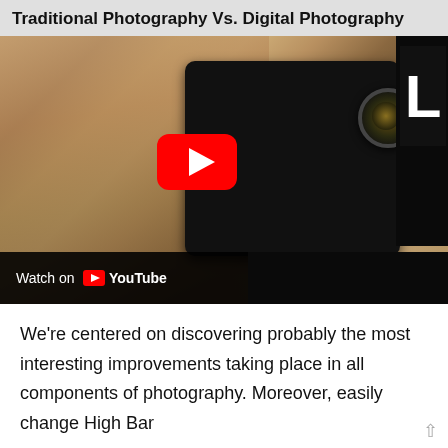Traditional Photography Vs. Digital Photography
[Figure (screenshot): YouTube video thumbnail showing a tattooed man holding a smartphone with a camera lens attachment. A red YouTube play button is centered on the image. A 'Watch on YouTube' bar appears at the bottom left of the video.]
We're centered on discovering probably the most interesting improvements taking place in all components of photography. Moreover, easily change High Bar